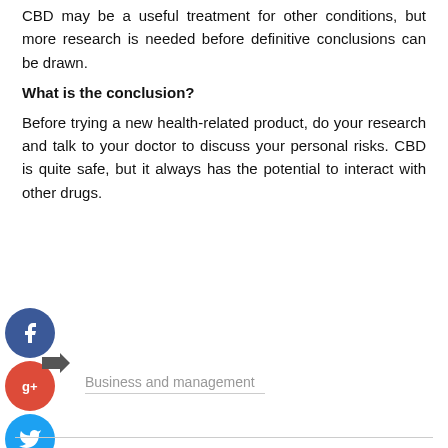CBD may be a useful treatment for other conditions, but more research is needed before definitive conclusions can be drawn.
What is the conclusion?
Before trying a new health-related product, do your research and talk to your doctor to discuss your personal risks. CBD is quite safe, but it always has the potential to interact with other drugs.
[Figure (infographic): Social sharing icons: Facebook (blue circle with f), a share/send arrow icon, Google+ (red circle with g+), Twitter (blue circle with bird), and a dark circle with plus sign. Category label 'Business and management' with underline below.]